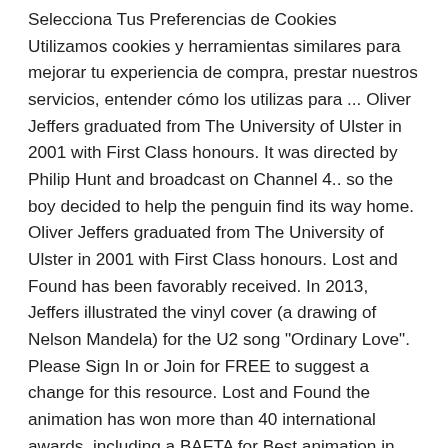Selecciona Tus Preferencias de Cookies Utilizamos cookies y herramientas similares para mejorar tu experiencia de compra, prestar nuestros servicios, entender cómo los utilizas para ... Oliver Jeffers graduated from The University of Ulster in 2001 with First Class honours. It was directed by Philip Hunt and broadcast on Channel 4.. so the boy decided to help the penguin find its way home. Oliver Jeffers graduated from The University of Ulster in 2001 with First Class honours. Lost and Found has been favorably received. In 2013, Jeffers illustrated the vinyl cover (a drawing of Nelson Mandela) for the U2 song "Ordinary Love". Please Sign In or Join for FREE to suggest a change for this resource. Lost and Found the animation has won more than 40 international awards, including a BAFTA for Best animation in 2009. Add to Cart. The boy didn't know where it had come from, but it began to follow him everywhere. 0. From the illustrator of the #1 smash hit The Day The Crayons Quit comes a humorously warm tale of friendship. Free Pickup in as Little as Three Hours, Free shipping on orders over $35. from Oliver Jeffers 01:14